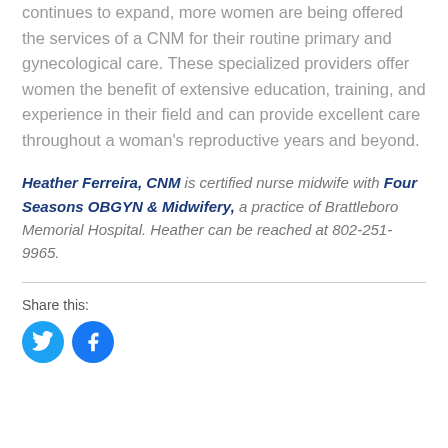continues to expand, more women are being offered the services of a CNM for their routine primary and gynecological care. These specialized providers offer women the benefit of extensive education, training, and experience in their field and can provide excellent care throughout a woman's reproductive years and beyond.
Heather Ferreira, CNM is certified nurse midwife with Four Seasons OBGYN & Midwifery, a practice of Brattleboro Memorial Hospital. Heather can be reached at 802-251-9965.
Share this:
[Figure (other): Two circular social media buttons: Twitter (blue, bird icon) and Facebook (blue, f icon)]